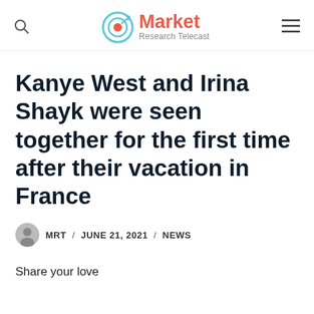Market Research Telecast
Kanye West and Irina Shayk were seen together for the first time after their vacation in France
MRT / JUNE 21, 2021 / NEWS
Share your love